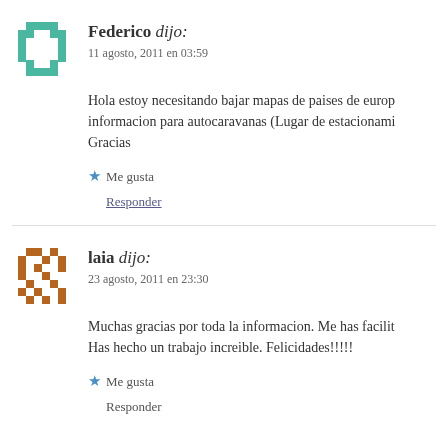Federico dijo:
11 agosto, 2011 en 03:59
Hola estoy necesitando bajar mapas de paises de europa con informacion para autocaravanas (Lugar de estacionami... Gracias
Me gusta
Responder
laia dijo:
23 agosto, 2011 en 23:30
Muchas gracias por toda la informacion. Me has facilita... Has hecho un trabajo increible. Felicidades!!!!!
Me gusta
Responder